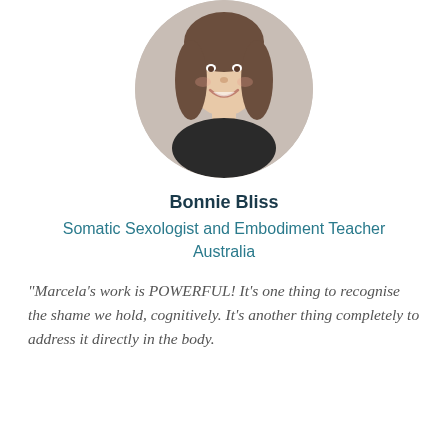[Figure (photo): Circular cropped headshot photo of Bonnie Bliss, a woman with long brown hair, smiling, wearing a dark top]
Bonnie Bliss
Somatic Sexologist and Embodiment Teacher
Australia
“Marcela’s work is POWERFUL!  It’s one thing to recognise the shame we hold, cognitively. It's another thing completely to address it directly in the body.